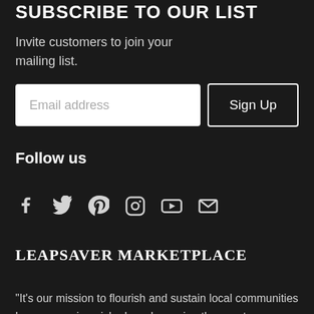SUBSCRIBE TO OUR LIST
Invite customers to join your mailing list.
[Figure (other): Email address input field and Sign Up button]
Follow us
[Figure (other): Social media icons: Facebook, Twitter, Pinterest, Instagram, YouTube, Email]
LEAPSAVER MARKETPLACE
"It's our mission to flourish and sustain local communities by empowering niche brands, paving the way to an era of purpose based commerce."